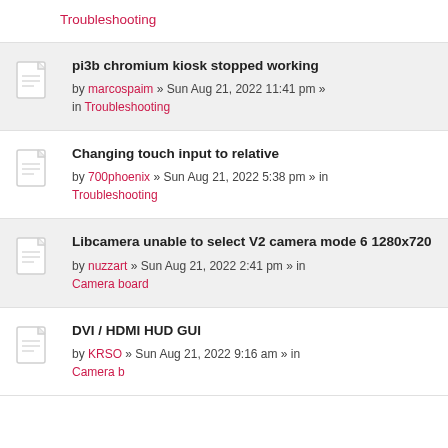Troubleshooting
pi3b chromium kiosk stopped working by marcospaim » Sun Aug 21, 2022 11:41 pm » in Troubleshooting
Changing touch input to relative by 700phoenix » Sun Aug 21, 2022 5:38 pm » in Troubleshooting
Libcamera unable to select V2 camera mode 6 1280x720 by nuzzart » Sun Aug 21, 2022 2:41 pm » in Camera board
DVI / HDMI HUD GUI by KRSO » Sun Aug 21, 2022 9:16 am » in Camera board